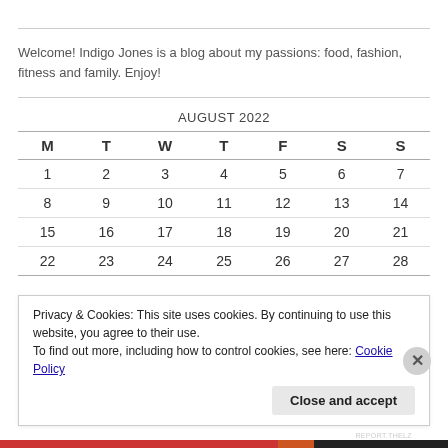Welcome! Indigo Jones is a blog about my passions: food, fashion, fitness and family. Enjoy!
| M | T | W | T | F | S | S |
| --- | --- | --- | --- | --- | --- | --- |
| 1 | 2 | 3 | 4 | 5 | 6 | 7 |
| 8 | 9 | 10 | 11 | 12 | 13 | 14 |
| 15 | 16 | 17 | 18 | 19 | 20 | 21 |
| 22 | 23 | 24 | 25 | 26 | 27 | 28 |
Privacy & Cookies: This site uses cookies. By continuing to use this website, you agree to their use.
To find out more, including how to control cookies, see here: Cookie Policy